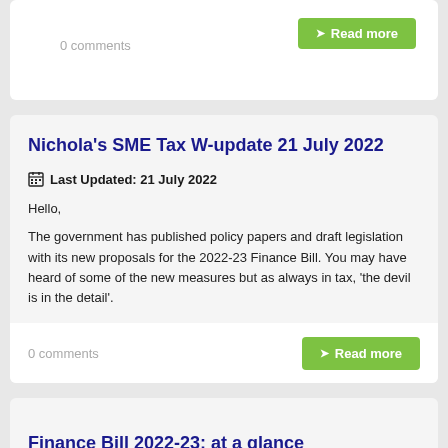0 comments
Read more
Nichola's SME Tax W-update 21 July 2022
Last Updated: 21 July 2022
Hello,
The government has published policy papers and draft legislation with its new proposals for the 2022-23 Finance Bill. You may have heard of some of the new measures but as always in tax, 'the devil is in the detail'.
0 comments
Read more
Finance Bill 2022-23: at a glance